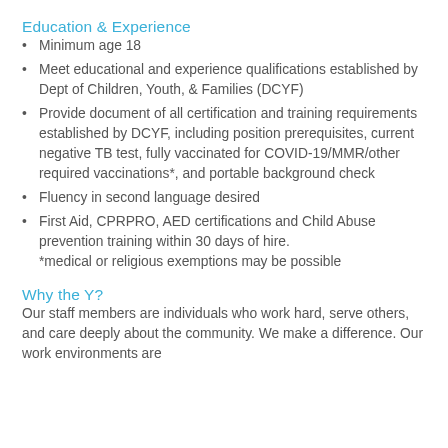Education & Experience
Minimum age 18
Meet educational and experience qualifications established by Dept of Children, Youth, & Families (DCYF)
Provide document of all certification and training requirements established by DCYF, including position prerequisites, current negative TB test, fully vaccinated for COVID-19/MMR/other required vaccinations*, and portable background check
Fluency in second language desired
First Aid, CPRPRO, AED certifications and Child Abuse prevention training within 30 days of hire.
*medical or religious exemptions may be possible
Why the Y?
Our staff members are individuals who work hard, serve others, and care deeply about the community. We make a difference. Our work environments are